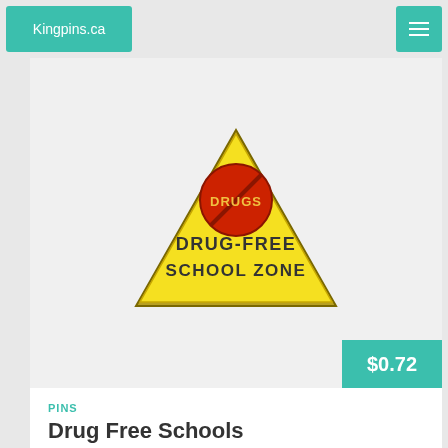Kingpins.ca
[Figure (photo): A triangular yellow pin with a red circle-slash 'DRUGS' symbol at the top and bold black text reading 'DRUG-FREE SCHOOL ZONE' below it.]
$0.72
PINS
Drug Free Schools
Item Number: 006001
Volume Discounts Available